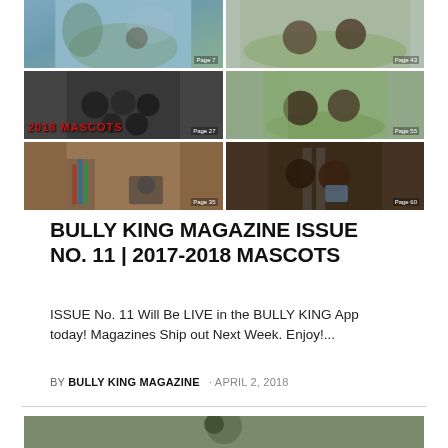[Figure (photo): Collage of dog photos arranged in a 2x3 grid with page number labels. Left column top: outdoor nature scene (Page 7), left column middle: group of dogs with '2018 MASCOTS' text overlay (Page 27), left column bottom: dog with ribbons at show (Page 35). Right column top: two dogs outdoors (Page 43), right column middle: two dogs on grass (Page 55), right column bottom: two dogs with accessories (Page 60).]
BULLY KING MAGAZINE ISSUE NO. 11 | 2017-2018 MASCOTS
ISSUE No. 11 Will Be LIVE in the BULLY KING App today! Magazines Ship out Next Week. Enjoy!...
BY BULLY KING MAGAZINE · APRIL 2, 2018
[Figure (photo): Partial photo of a dog, cropped at bottom of page.]